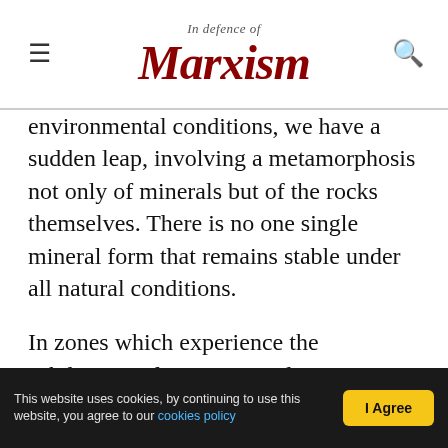In Defence of Marxism
environmental conditions, we have a sudden leap, involving a metamorphosis not only of minerals but of the rocks themselves. There is no one single mineral form that remains stable under all natural conditions.
In zones which experience the subduction of an ocean under a continent, rocks can be buried very deep in the crust. Under such extreme conditions, the rocks themselves begin to melt. However, this process does not happen all at once. We have the phenomenon of partial melting, because different minerals melt at different points. The melting
This website uses cookies, by continuing to use this website, you agree to our cookies policy  I Agree